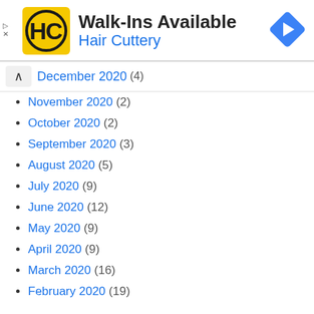[Figure (logo): Hair Cuttery advertisement banner with HC logo, 'Walk-Ins Available' text, 'Hair Cuttery' subtitle, and a blue navigation arrow icon]
December 2020 (4)
November 2020 (2)
October 2020 (2)
September 2020 (3)
August 2020 (5)
July 2020 (9)
June 2020 (12)
May 2020 (9)
April 2020 (9)
March 2020 (16)
February 2020 (19)
January 2020 (10)
December 2019 (10)
November 2019 (13)